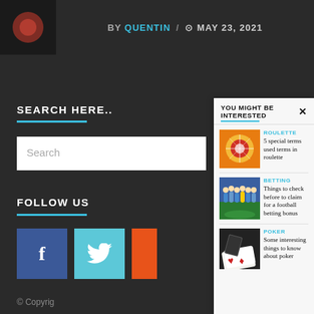BY QUENTIN / MAY 23, 2021
SEARCH HERE..
Search
FOLLOW US
YOU MIGHT BE INTERESTED
ROULETTE
5 special terms used terms in roulette
[Figure (photo): Roulette wheel with flames and golden light]
BETTING
Things to check before to claim for a football betting bonus
[Figure (photo): Football team posing on a pitch]
POKER
Some interesting things to know about poker
[Figure (photo): Person handling playing cards on a table]
© Copyrig